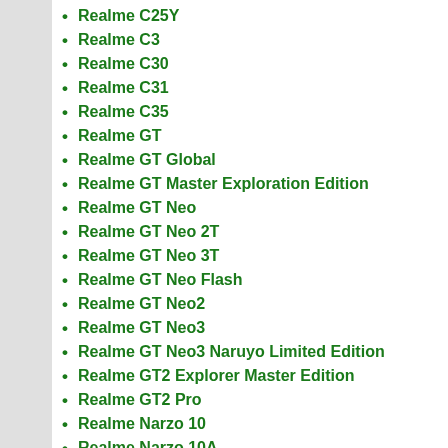Realme C25Y
Realme C3
Realme C30
Realme C31
Realme C35
Realme GT
Realme GT Global
Realme GT Master Exploration Edition
Realme GT Neo
Realme GT Neo 2T
Realme GT Neo 3T
Realme GT Neo Flash
Realme GT Neo2
Realme GT Neo3
Realme GT Neo3 Naruyo Limited Edition
Realme GT2 Explorer Master Edition
Realme GT2 Pro
Realme Narzo 10
Realme Narzo 10A
Realme Narzo 20
Realme Narzo 20 Pro
Realme Narzo 30A